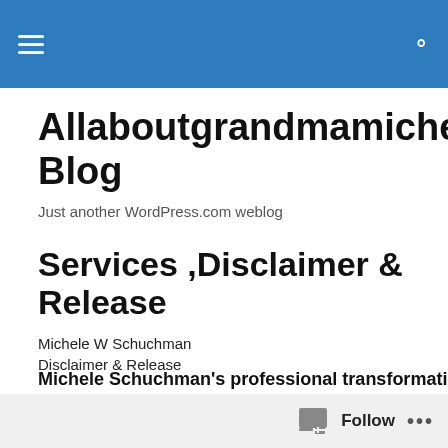Allaboutgrandmamichele's Blog – navigation bar with hamburger menu and search icon
Allaboutgrandmamichele's Blog
Just another WordPress.com weblog
Services ,Disclaimer & Release
Michele W Schuchman
Disclaimer & Release
Michele Schuchman's professional transformation